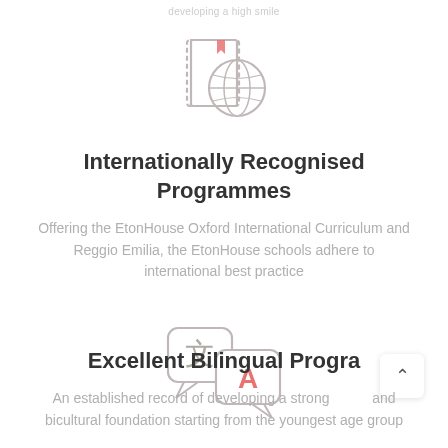developing a high smile
[Figure (illustration): Icon of a book with a globe/earth symbol overlapping it, drawn in light gray outlines with a small red bookmark tab on the book]
Internationally Recognised Programmes
Offering the EtonHouse Oxford International Curriculum and Reggio Emilia, the EtonHouse schools adhere to international best practice
[Figure (illustration): Icon of two speech bubbles containing translation symbols: Chinese character 文 and Latin letter A in red/pink, representing bilingual/translation]
Excellent Bilingual Progra
An established record of developing a strong and bicultural foundation starting from the youngest age group